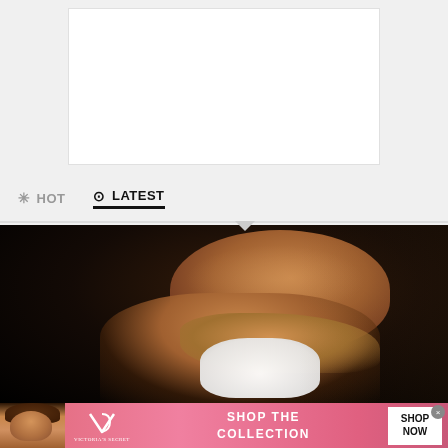[Figure (screenshot): White content box area at top of webpage]
HOT
LATEST
[Figure (photo): Person of color holding white tissue/cloth up to their face against dark background]
[Figure (photo): Victoria's Secret advertisement banner with pink background, model photo, VS logo, 'SHOP THE COLLECTION' text, and 'SHOP NOW' button]